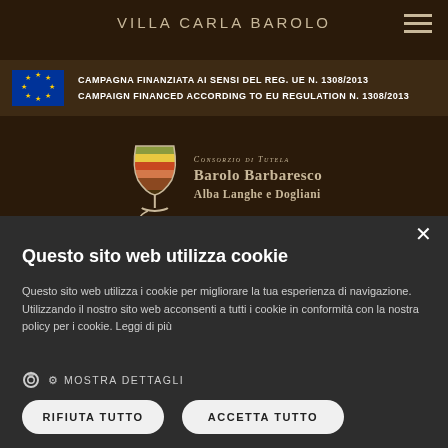VILLA CARLA BAROLO
[Figure (logo): EU flag and campaign financing notice: CAMPAGNA FINANZIATA AI SENSI DEL REG. UE N. 1308/2013 / CAMPAIGN FINANCED ACCORDING TO EU REGULATION N. 1308/2013]
[Figure (logo): Consorzio di Tutela Barolo Barbaresco Alba Langhe e Dogliani logo with wine glass graphic]
Questo sito web utilizza cookie
Questo sito web utilizza i cookie per migliorare la tua esperienza di navigazione. Utilizzando il nostro sito web acconsenti a tutti i cookie in conformità con la nostra policy per i cookie. Leggi di più
MOSTRA DETTAGLI
RIFIUTA TUTTO
ACCETTA TUTTO